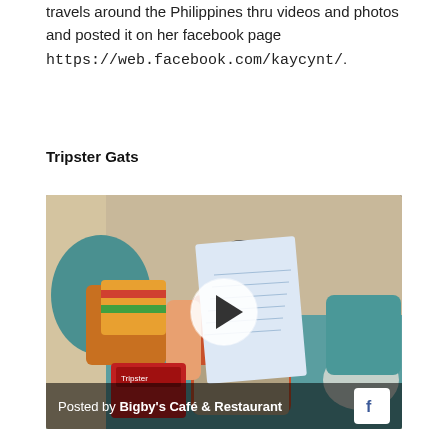travels around the Philippines thru videos and photos and posted it on her facebook page https://web.facebook.com/kaycynt/.
Tripster Gats
[Figure (screenshot): Video thumbnail showing a person sitting on a bed holding up a piece of paper, with a play button overlay. Caption at bottom reads 'Posted by Bigby's Café & Restaurant' with Facebook icon.]